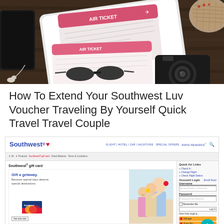[Figure (photo): Overhead flat-lay photo on dark wood table showing air tickets, a white tablet, smartphone, sunglasses, a camera, earphones, and a woven hat.]
How To Extend Your Southwest Luv Voucher Traveling By Yourself Quick Travel Travel Couple
[Figure (screenshot): Screenshot of the Southwest Airlines website showing the gift card page with navigation bar, breadcrumb trail, Southwest logo, 'Southwest gift card' heading, a promotional banner reading 'Gift a getaway. Because special days deserve special destinations.', a Southwest credit card image, a family photo, a Quick Air Links sidebar, Account Login form, and Manage/Rapid Rewards yellow buttons. A teal circle back-to-top button is visible in the lower right.]